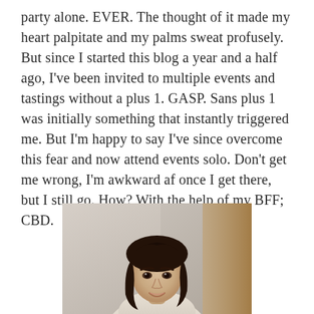party alone. EVER. The thought of it made my heart palpitate and my palms sweat profusely. But since I started this blog a year and a half ago, I've been invited to multiple events and tastings without a plus 1. GASP. Sans plus 1 was initially something that instantly triggered me. But I'm happy to say I've since overcome this fear and now attend events solo. Don't get me wrong, I'm awkward af once I get there, but I still go. How? With the help of my BFF; CBD.
[Figure (photo): A woman with dark shoulder-length hair, smiling slightly, wearing a light-colored top, photographed indoors with a curtain background.]